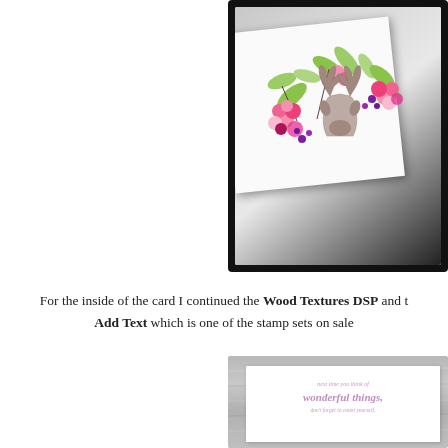[Figure (photo): Close-up photo of a handmade greeting card featuring a wooden deer head silhouette surrounded by pink and green floral stamped decorations, displayed at an angle against a dark background.]
For the inside of the card I continued the Wood Textures DSP and the Add Text which is one of the stamp sets on sale
[Figure (photo): Photo of the inside of a greeting card showing a silver/grey wood texture background with a white card layer featuring a cursive stamped sentiment reading 'next time you think of wonderful things, don't forget to count yourself.']